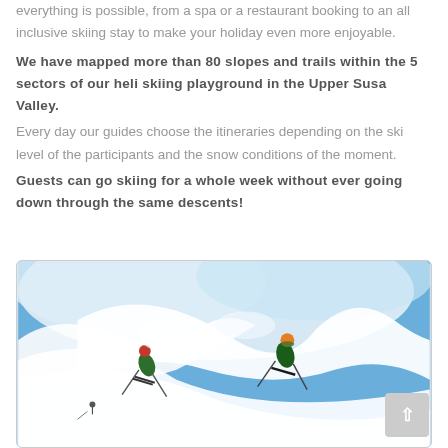everything is possible, from a spa or a restaurant booking to an all inclusive skiing stay to make your holiday even more enjoyable.
We have mapped more than 80 slopes and trails within the 5 sectors of our heli skiing playground in the Upper Susa Valley.
Every day our guides choose the itineraries depending on the ski level of the participants and the snow conditions of the moment.
Guests can go skiing for a whole week without ever going down through the same descents!
[Figure (photo): Two skiers descending a steep powder snow slope with a blue sky background and large snow spray]